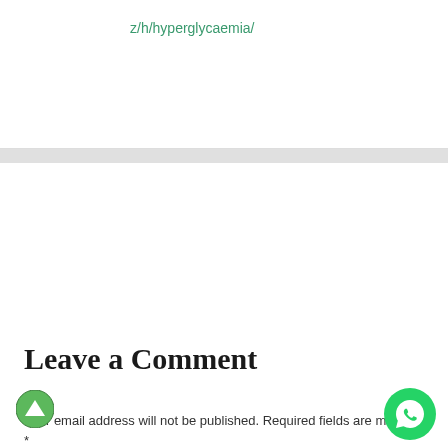z/h/hyperglycaemia/
Leave a Comment
Your email address will not be published. Required fields are marked *
Type here..